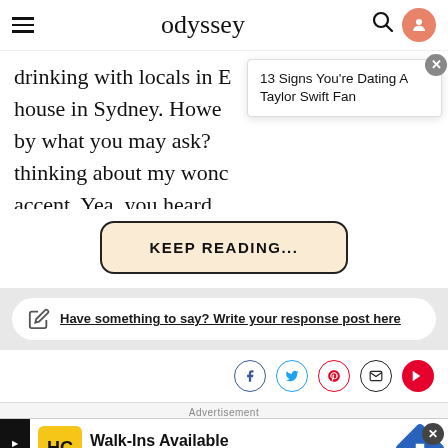odyssey
drinking with locals in E house in Sydney. Howe by what you may ask? thinking about my wonc accent. Yea, you heard
13 Signs You're Dating A Taylor Swift Fan
KEEP READING...
Have something to say? Write your response post here
Advertisement
Walk-Ins Available
Hair Cuttery